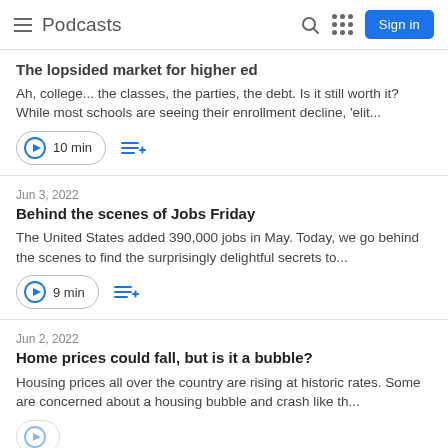Podcasts
The lopsided market for higher ed
Ah, college... the classes, the parties, the debt. Is it still worth it? While most schools are seeing their enrollment decline, 'elit...
10 min
Jun 3, 2022
Behind the scenes of Jobs Friday
The United States added 390,000 jobs in May. Today, we go behind the scenes to find the surprisingly delightful secrets to...
9 min
Jun 2, 2022
Home prices could fall, but is it a bubble?
Housing prices all over the country are rising at historic rates. Some are concerned about a housing bubble and crash like th...